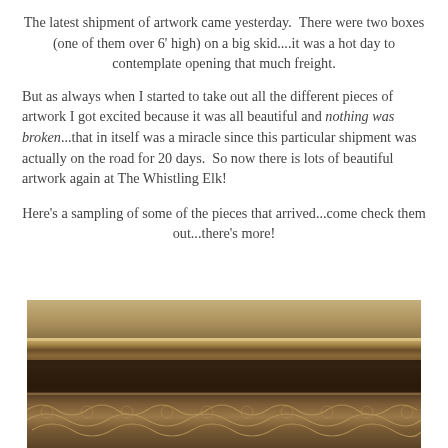The latest shipment of artwork came yesterday.  There were two boxes (one of them over 6' high) on a big skid....it was a hot day to contemplate opening that much freight.
But as always when I started to take out all the different pieces of artwork I got excited because it was all beautiful and nothing was broken...that in itself was a miracle since this particular shipment was actually on the road for 20 days.  So now there is lots of beautiful artwork again at The Whistling Elk!
Here's a sampling of some of the pieces that arrived...come check them out...there's more!
[Figure (photo): Close-up photo of an ornate decorative picture frame with golden-brown carved scrollwork and molding detail, shown at an angle.]